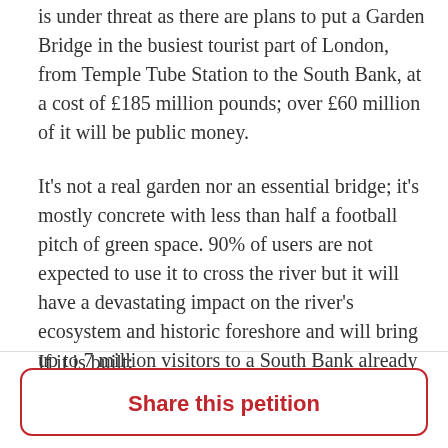is under threat as there are plans to put a Garden Bridge in the busiest tourist part of London, from Temple Tube Station to the South Bank, at a cost of £185 million pounds; over £60 million of it will be public money.
It's not a real garden nor an essential bridge; it's mostly concrete with less than half a football pitch of green space. 90% of users are not expected to use it to cross the river but it will have a devastating impact on the river's ecosystem and historic foreshore and will bring up to 7 million visitors to a South Bank already bursting with tourists.
If it is built:
Share this petition